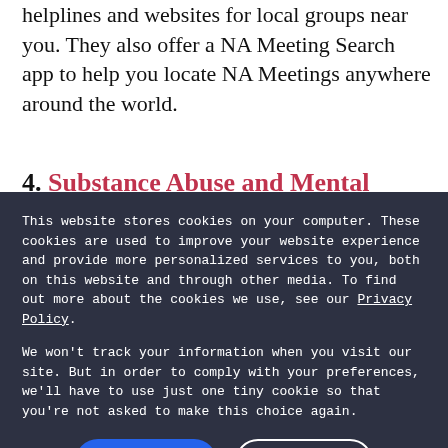helplines and websites for local groups near you. They also offer a NA Meeting Search app to help you locate NA Meetings anywhere around the world.
4. Substance Abuse and Mental [continues]
This website stores cookies on your computer. These cookies are used to improve your website experience and provide more personalized services to you, both on this website and through other media. To find out more about the cookies we use, see our Privacy Policy.

We won't track your information when you visit our site. But in order to comply with your preferences, we'll have to use just one tiny cookie so that you're not asked to make this choice again.